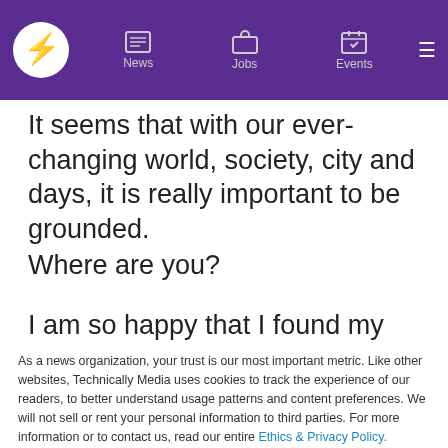News | Jobs | Events
It seems that with our ever-changing world, society, city and days, it is really important to be grounded.
Where are you?
I am so happy that I found my place, knowing that I matter, and count. Making my voice be heard by
As a news organization, your trust is our most important metric. Like other websites, Technically Media uses cookies to track the experience of our readers, to better understand usage patterns and content preferences. We will not sell or rent your personal information to third parties. For more information or to contact us, read our entire Ethics & Privacy Policy.